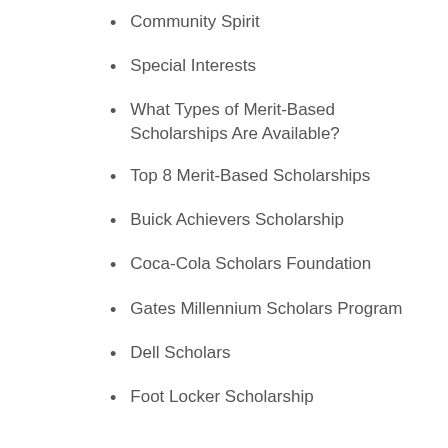Community Spirit
Special Interests
What Types of Merit-Based Scholarships Are Available?
Top 8 Merit-Based Scholarships
Buick Achievers Scholarship
Coca-Cola Scholars Foundation
Gates Millennium Scholars Program
Dell Scholars
Foot Locker Scholarship